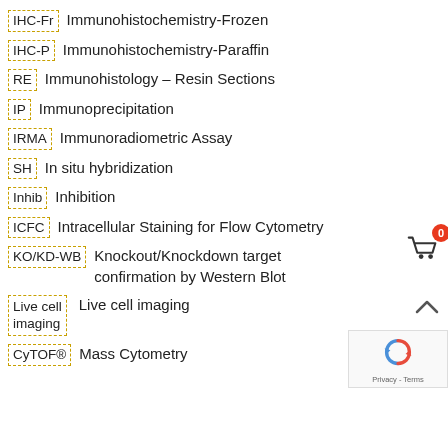IHC-Fr  Immunohistochemistry-Frozen
IHC-P  Immunohistochemistry-Paraffin
RE  Immunohistology - Resin Sections
IP  Immunoprecipitation
IRMA  Immunoradiometric Assay
SH  In situ hybridization
Inhib  Inhibition
ICFC  Intracellular Staining for Flow Cytometry
KO/KD-WB  Knockout/Knockdown target confirmation by Western Blot
Live cell imaging  Live cell imaging
CyTOF®  Mass Cytometry
[Figure (other): Shopping cart icon with red badge showing 0, chevron up arrow, and reCAPTCHA widget]